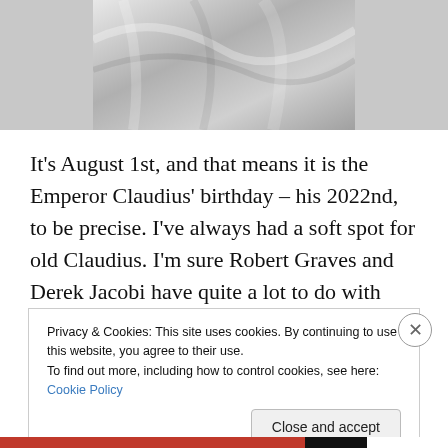[Figure (photo): Partial view of a draped white/grey fabric or toga, likely a Roman statue bust]
It's August 1st, and that means it is the Emperor Claudius' birthday – his 2022nd, to be precise. I've always had a soft spot for old Claudius. I'm sure Robert Graves and Derek Jacobi have quite a lot to do with that, but the narrative of the underdog who was sidelined and belittled for years but still became emperor anyway is inherently endearing. I also love the fact that he was a historian, just like me.
Privacy & Cookies: This site uses cookies. By continuing to use this website, you agree to their use.
To find out more, including how to control cookies, see here: Cookie Policy

Close and accept